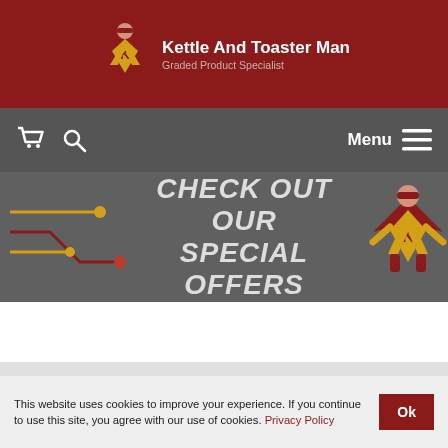[Figure (logo): Kettle And Toaster Man logo with superhero mascot wearing cape and K emblem, on dark red background]
Kettle And Toaster Man
Graded Product Specialist
[Figure (infographic): Navigation bar with shopping cart icon, search icon on left, and Menu hamburger icon on right, on gray background]
[Figure (infographic): Dark gray banner with decorative circuit/connector lines on left and superhero mascot on right, text reads CHECK OUT OUR SPECIAL OFFERS]
CHECK OUT OUR SPECIAL OFFERS
This website uses cookies to improve your experience. If you continue to use this site, you agree with our use of cookies. Privacy Policy